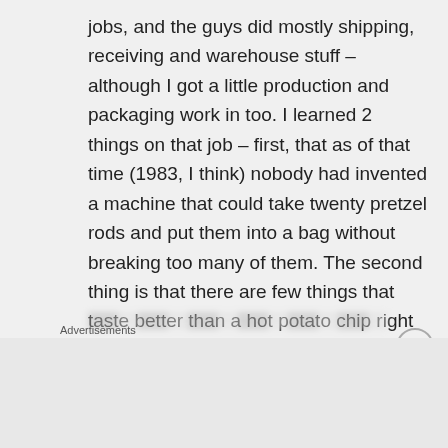jobs, and the guys did mostly shipping, receiving and warehouse stuff – although I got a little production and packaging work in too. I learned 2 things on that job – first, that as of that time (1983, I think) nobody had invented a machine that could take twenty pretzel rods and put them into a bag without breaking too many of them. The second thing is that there are few things that taste better than a hot potato chip right out of the fryer.

That job would make for a great blog post,
Advertisements